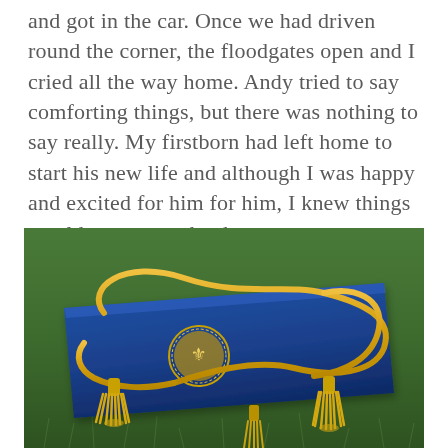and got in the car. Once we had driven round the corner, the floodgates open and I cried all the way home. Andy tried to say comforting things, but there was nothing to say really. My firstborn had left home to start his new life and although I was happy and excited for him for him, I knew things would never ever be the same.
[Figure (photo): A blue graduation cap (mortarboard) with a gold emblem/seal on the front, draped with gold honor cords with tassels, lying on green grass. Another gold tassel is visible in the foreground.]